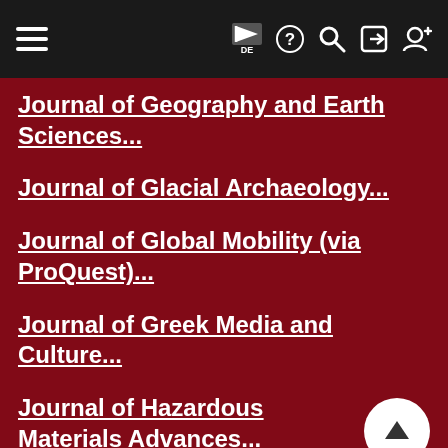Navigation bar with hamburger menu, flag/DE, help, search, login, register icons
Journal of Geography and Earth Sciences...
Journal of Glacial Archaeology...
Journal of Global Mobility (via ProQuest)...
Journal of Greek Media and Culture...
Journal of Hazardous Materials Advances...